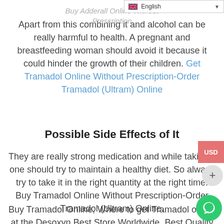English
Buy Adderall Online Without Prescription
Apart from this combining it and alcohol can be really harmful to health. A pregnant and breastfeeding woman should avoid it because it could hinder the growth of their children. Get Tramadol Online Without Prescription-Order Tramadol (Ultram) Online
Possible Side Effects of It
They are really strong medication and while taking it one should try to maintain a healthy diet. So always try to take it in the right quantity at the right time. Buy Tramadol Online Without Prescription-Order Tramadol (Ultram) Online.
Buy Tramadol Online, Where to get Tramadol online at the Desoxyn Best Store Worldwide. Best Quality Tramadol tablets online